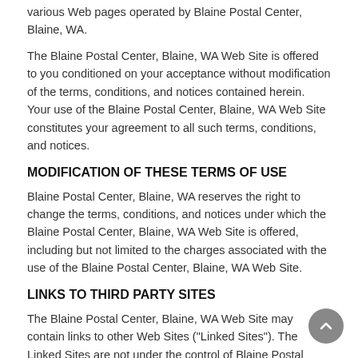various Web pages operated by Blaine Postal Center, Blaine, WA.
The Blaine Postal Center, Blaine, WA Web Site is offered to you conditioned on your acceptance without modification of the terms, conditions, and notices contained herein. Your use of the Blaine Postal Center, Blaine, WA Web Site constitutes your agreement to all such terms, conditions, and notices.
MODIFICATION OF THESE TERMS OF USE
Blaine Postal Center, Blaine, WA reserves the right to change the terms, conditions, and notices under which the Blaine Postal Center, Blaine, WA Web Site is offered, including but not limited to the charges associated with the use of the Blaine Postal Center, Blaine, WA Web Site.
LINKS TO THIRD PARTY SITES
The Blaine Postal Center, Blaine, WA Web Site may contain links to other Web Sites ("Linked Sites"). The Linked Sites are not under the control of Blaine Postal Center, Blaine, WA and Blaine Postal Center, Blaine, WA is not responsible for the contents of any Linked Site, including without limitation any link contained in a Linked Site, or any changes or updates to a Linked Site. Blaine Postal Center, Blaine, WA is not responsible